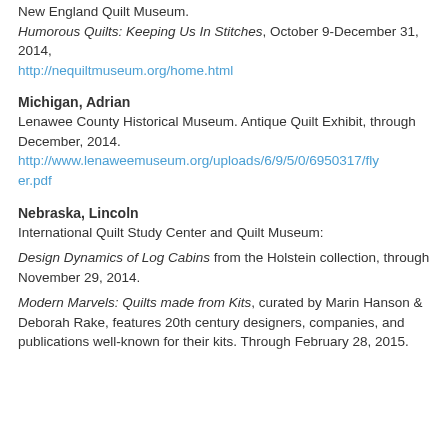New England Quilt Museum. Humorous Quilts: Keeping Us In Stitches, October 9-December 31, 2014, http://nequiltmuseum.org/home.html
Michigan, Adrian
Lenawee County Historical Museum. Antique Quilt Exhibit, through December, 2014. http://www.lenaweemuseum.org/uploads/6/9/5/0/6950317/flyer.pdf
Nebraska, Lincoln
International Quilt Study Center and Quilt Museum:
Design Dynamics of Log Cabins from the Holstein collection, through November 29, 2014.
Modern Marvels: Quilts made from Kits, curated by Marin Hanson & Deborah Rake, features 20th century designers, companies, and publications well-known for their kits. Through February 28, 2015.